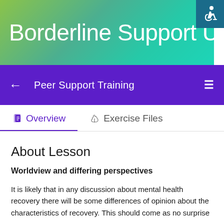[Figure (logo): Borderline Support UK website header with green-to-teal gradient background and white text logo]
[Figure (illustration): Accessibility icon (wheelchair symbol) in white on dark teal background, top right corner]
Peer Support Training
Overview
Exercise Files
About Lesson
Worldview and differing perspectives
It is likely that in any discussion about mental health recovery there will be some differences of opinion about the characteristics of recovery. This should come as no surprise